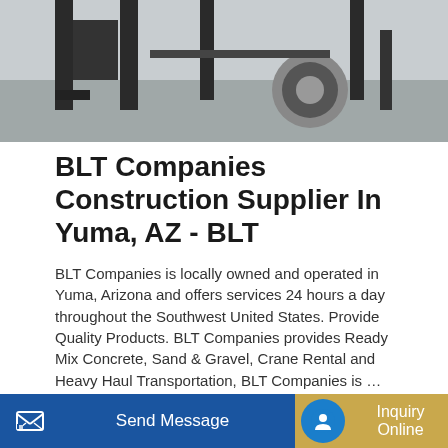[Figure (photo): Photograph of heavy construction equipment (crane or forklift base) with metal legs/supports on a concrete surface.]
BLT Companies Construction Supplier In Yuma, AZ - BLT
BLT Companies is locally owned and operated in Yuma, Arizona and offers services 24 hours a day throughout the Southwest United States. Provide Quality Products. BLT Companies provides Ready Mix Concrete, Sand & Gravel, Crane Rental and Heavy Haul Transportation, BLT Companies is …
[Figure (screenshot): Partial view of a second photo showing construction machinery (concrete mixer or similar green vehicle).]
Send Message | Inquiry Online